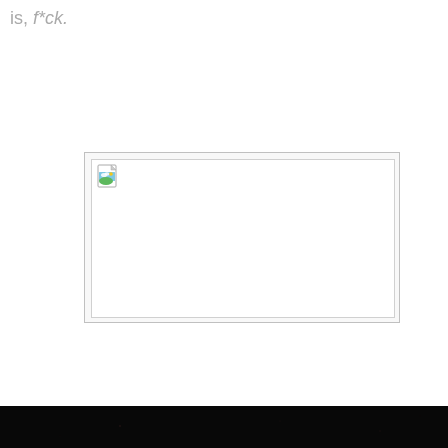is, f*ck.
[Figure (other): Broken/missing image placeholder with a small broken image icon in the top-left corner. The placeholder consists of an outer box with a light gray border and an inner white rectangle.]
[Figure (photo): Dark near-black strip at the bottom of the page, appearing to be a very dark background, possibly a night sky with faint dots.]